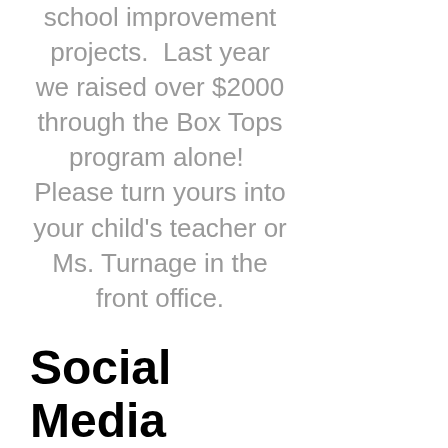school improvement projects.  Last year we raised over $2000 through the Box Tops program alone!  Please turn yours into your child's teacher or Ms. Turnage in the front office.
Social Media